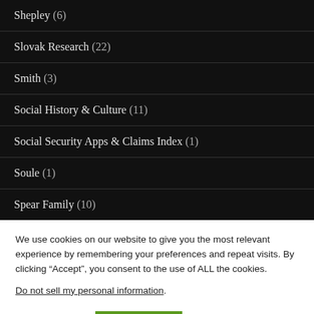Shepley (6)
Slovak Research (22)
Smith (3)
Social History & Culture (11)
Social Security Apps & Claims Index (1)
Soule (1)
Spear Family (10)
We use cookies on our website to give you the most relevant experience by remembering your preferences and repeat visits. By clicking “Accept”, you consent to the use of ALL the cookies. Do not sell my personal information.
Cookie settings  ACCEPT